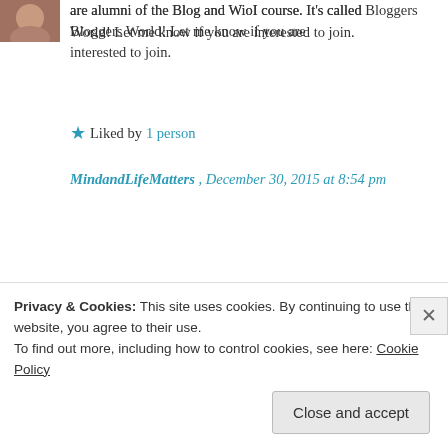[Figure (photo): Small avatar photo of a person, partially visible in top-left corner]
are alumni of the Blog and WioI course. It's called Bloggers World! Let me know if you are interested to join.
★ Liked by 1 person
MindandLifeMatters , December 30, 2015 at 8:54 pm
[Figure (photo): Square avatar with pinkish-mauve background with decorative dots and lines]
I am!!! How do I find it?
★ Liked by 1 person
Privacy & Cookies: This site uses cookies. By continuing to use this website, you agree to their use.
To find out more, including how to control cookies, see here: Cookie Policy